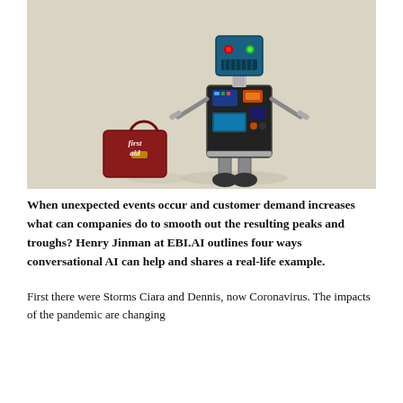[Figure (photo): A toy robot made of electronic components and circuit boards, standing upright with arms outstretched. Next to it is a small dark red suitcase labeled 'first aid' in white text. The background is a light beige/cream color.]
When unexpected events occur and customer demand increases what can companies do to smooth out the resulting peaks and troughs? Henry Jinman at EBI.AI outlines four ways conversational AI can help and shares a real-life example.
First there were Storms Ciara and Dennis, now Coronavirus. The impacts of the pandemic are changing